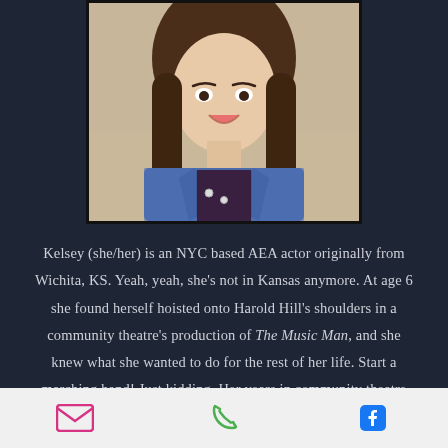[Figure (photo): Headshot photo of Kelsey, a young woman with long brown hair, smiling, wearing a denim jacket over a dark top, against a neutral background.]
Kelsey (she/her) is an NYC based AEA actor originally from Wichita, KS. Yeah, yeah, she's not in Kansas anymore. At age 6 she found herself hoisted onto Harold Hill's shoulders in a community theatre's production of The Music Man, and she knew what she wanted to do for the rest of her life. Start a marching band! Just kidding. Her years in community theatre turned
Email | Phone | Facebook